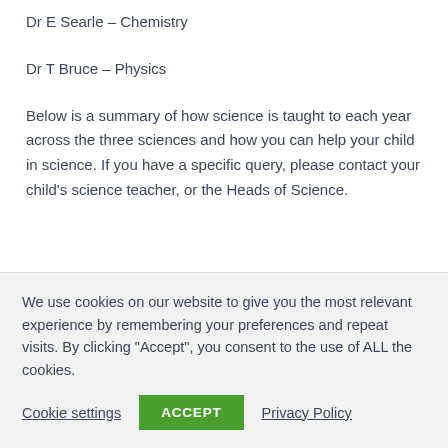Dr E Searle – Chemistry
Dr T Bruce – Physics
Below is a summary of how science is taught to each year across the three sciences and how you can help your child in science. If you have a specific query, please contact your child's science teacher, or the Heads of Science.
We use cookies on our website to give you the most relevant experience by remembering your preferences and repeat visits. By clicking "Accept", you consent to the use of ALL the cookies.
Cookie settings  ACCEPT  Privacy Policy